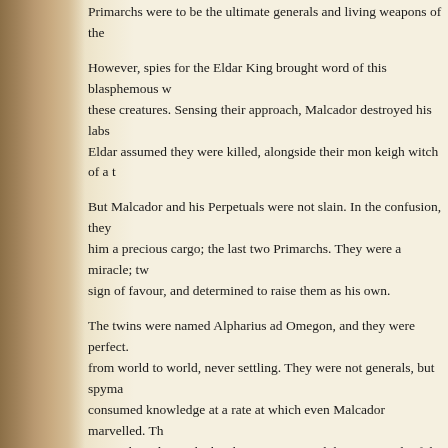Primarchs were to be the ultimate generals and living weapons of the
However, spies for the Eldar King brought word of this blasphemous work and sent creatures to destroy these creatures. Sensing their approach, Malcador destroyed his labs and fled, and the Eldar assumed they were killed, alongside their mon keigh witch of a t
But Malcador and his Perpetuals were not slain. In the confusion, they escaped, and with him a precious cargo; the last two Primarchs. They were a miracle; tw sign of favour, and determined to raise them as his own.
The twins were named Alpharius ad Omegon, and they were perfect. from world to world, never settling. They were not generals, but spyma consumed knowledge at a rate at which even Malcador marvelled. Th across the galaxy. The brothers even created their own Cult of the Hy around their Alphus manifesto.
Everything the Perpetuals and the Twins did had to be done in secret, sinister secret police force, known only as the Mandrakes. False leads confounding the half-daemon eldar huntsmen at every turn.
Almost every human realm was visited by the Insurgency of Man's cel planets, from the high G words of L'Huraxi, to the monstrous swamps Demiurg. Deals were brokered, oaths sworn, and all the while they we
This next was the page for the singular his next human invasion with